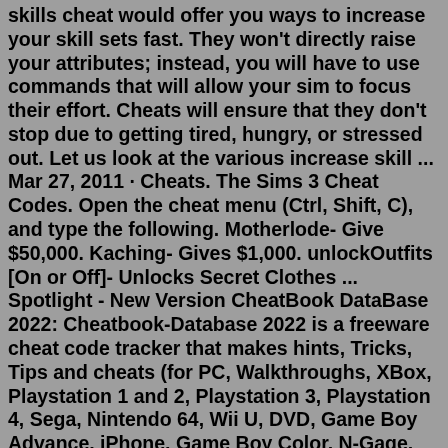skills cheat would offer you ways to increase your skill sets fast. They won't directly raise your attributes; instead, you will have to use commands that will allow your sim to focus their effort. Cheats will ensure that they don't stop due to getting tired, hungry, or stressed out. Let us look at the various increase skill ... Mar 27, 2011 · Cheats. The Sims 3 Cheat Codes. Open the cheat menu (Ctrl, Shift, C), and type the following. Motherlode- Give $50,000. Kaching- Gives $1,000. unlockOutfits [On or Off]- Unlocks Secret Clothes ... Spotlight - New Version CheatBook DataBase 2022: Cheatbook-Database 2022 is a freeware cheat code tracker that makes hints, Tricks, Tips and cheats (for PC, Walkthroughs, XBox, Playstation 1 and 2, Playstation 3, Playstation 4, Sega, Nintendo 64, Wii U, DVD, Game Boy Advance, iPhone, Game Boy Color, N-Gage, Nintendo DS, PSP, Gamecube, Dreamcast, Xbox 360, Super Nintendo) easily accessible from ... Mar 15, 2017 · The Sims 3 Cheats. updated Mar 15, 2017. This page contains a list of cheats, codes ... After that, the skill meter...